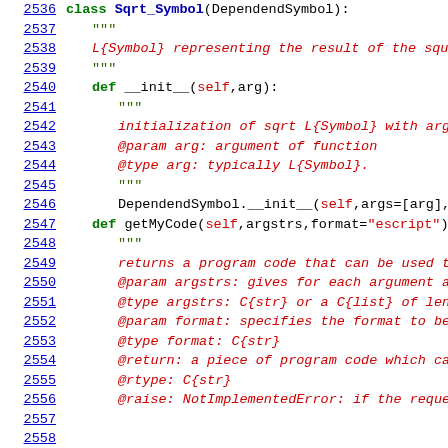[Figure (screenshot): Python source code viewer showing lines 2536-2558 of a file. Line numbers are shown in blue on the left with underlines. Code includes class definition for Sqrt_Symbol inheriting from DependendSymbol, with __init__ and getMyCode methods, docstrings in red italic, and Python keywords in green bold.]